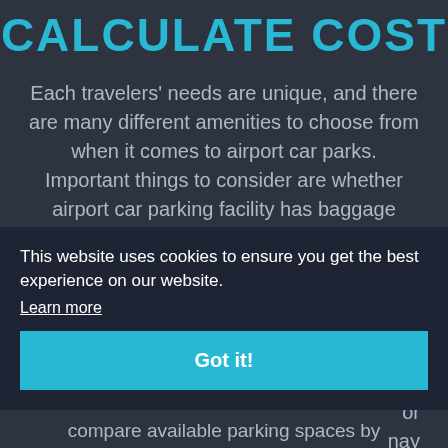CALCULATE COST
Each travelers' needs are unique, and there are many different amenities to choose from when it comes to airport car parks. Important things to consider are whether airport car parking facility has baggage assistance available, a travel agent on hand,
not
ow
or
nay
s,
[Figure (screenshot): Cookie consent banner overlay with text 'This website uses cookies to ensure you get the best experience on our website.' with a 'Learn more' link and a 'Got it!' button in teal/cyan color]
compare available parking spaces by